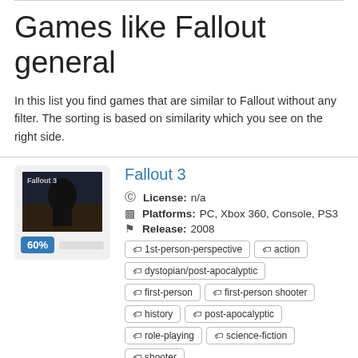Games like Fallout general
In this list you find games that are similar to Fallout without any filter. The sorting is based on similarity which you see on the right side.
Fallout 3
License: n/a
Platforms: PC, Xbox 360, Console, PS3
Release: 2008
Tags: 1st-person-perspective, action, dystopian/post-apocalyptic, first-person, first-person shooter, history, post-apocalyptic, role-playing, science-fiction, shooter
60%
I Am Alive